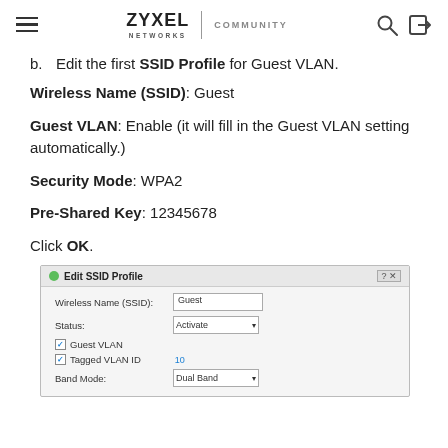ZYXEL NETWORKS | COMMUNITY
b.    Edit the first SSID Profile for Guest VLAN.
Wireless Name (SSID): Guest
Guest VLAN: Enable (it will fill in the Guest VLAN setting automatically.)
Security Mode: WPA2
Pre-Shared Key: 12345678
Click OK.
[Figure (screenshot): Edit SSID Profile dialog box with fields: Wireless Name (SSID): Guest, Status: Activate, Guest VLAN checked, Tagged VLAN ID: 10, Band Mode: Dual Band]